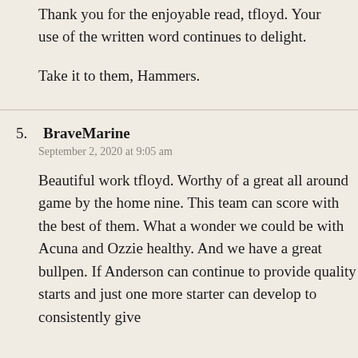Thank you for the enjoyable read, tfloyd. Your use of the written word continues to delight.
Take it to them, Hammers.
5. BraveMarine
September 2, 2020 at 9:05 am
Beautiful work tfloyd. Worthy of a great all around game by the home nine. This team can score with the best of them. What a wonder we could be with Acuna and Ozzie healthy. And we have a great bullpen. If Anderson can continue to provide quality starts and just one more starter can develop to consistently give